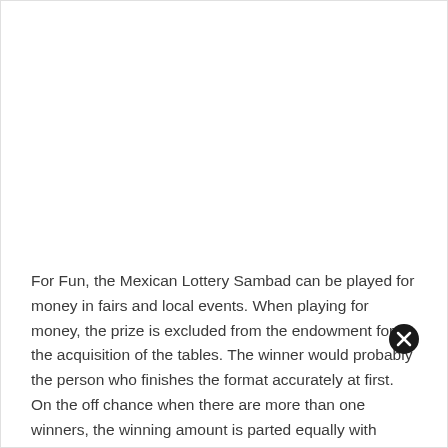For Fun, the Mexican Lottery Sambad can be played for money in fairs and local events. When playing for money, the prize is excluded from the endowment for the acquisition of the tables. The winner would probably the person who finishes the format accurately at first. On the off chance when there are more than one winners, the winning amount is parted equally with public consent.